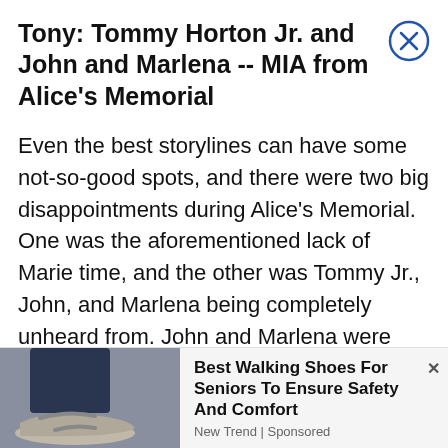Tony: Tommy Horton Jr. and John and Marlena -- MIA from Alice's Memorial
Even the best storylines can have some not-so-good spots, and there were two big disappointments during Alice's Memorial. One was the aforementioned lack of Marie time, and the other was Tommy Jr., John, and Marlena being completely unheard from. John and Marlena were both very close to Alice and part of her extended family. Tommy is family! Therefore it was totally shocking -- in the worst way possible -- that none of them sent a card or flowers or even a text. I'm not
[Figure (photo): Advertisement showing a person's legs wearing walking sandals/shoes, with dark jeans. Part of an ad for walking shoes for seniors.]
Best Walking Shoes For Seniors To Ensure Safety And Comfort
New Trend | Sponsored